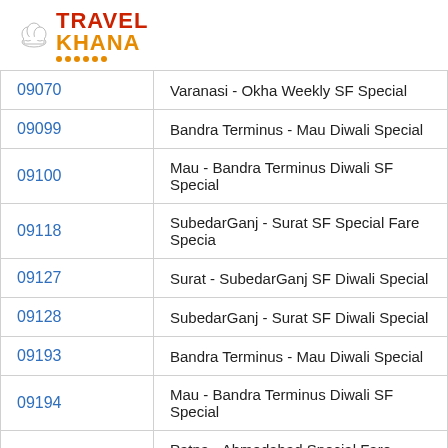[Figure (logo): TravelKhana logo with chef hat icon, red TRAVEL text, orange KHANA text, and orange dots underline]
| 09070 | Varanasi - Okha Weekly SF Special |
| 09099 | Bandra Terminus - Mau Diwali Special |
| 09100 | Mau - Bandra Terminus Diwali SF Special |
| 09118 | SubedarGanj - Surat SF Special Fare Specia |
| 09127 | Surat - SubedarGanj SF Diwali Special |
| 09128 | SubedarGanj - Surat SF Diwali Special |
| 09193 | Bandra Terminus - Mau Diwali Special |
| 09194 | Mau - Bandra Terminus Diwali SF Special |
| 09418X | Patna - Ahmedabad Special Fare Special |
| 09427X | Ahmedabad - Allahabad (Weekly) Special |